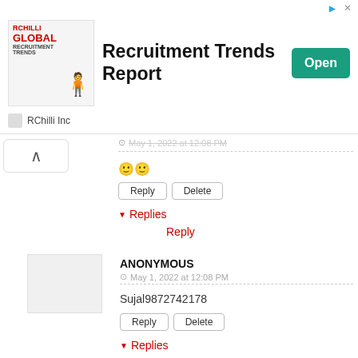[Figure (screenshot): Advertisement banner for RChilli Global Recruitment Trends Report with an Open button]
RChilli Inc
May 1, 2022 at 12:08 PM (truncated at top)
🙂🙂
Reply   Delete
▾ Replies
Reply
ANONYMOUS
May 1, 2022 at 12:08 PM
Sujal9872742178
Reply   Delete
▾ Replies
Reply
ANONYMOUS
May 1, 2022 at 12:08 PM
Reply   Delete
▾ Replies
Reply